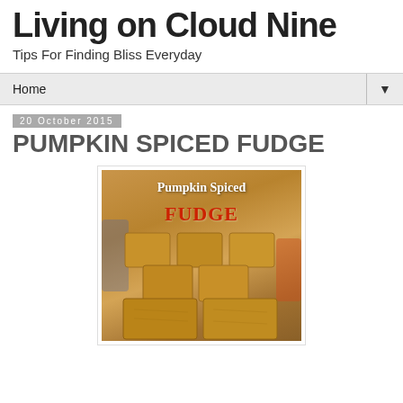Living on Cloud Nine
Tips For Finding Bliss Everyday
Home
20 October 2015
PUMPKIN SPICED FUDGE
[Figure (photo): Stack of pumpkin spiced fudge squares with text overlay reading 'Pumpkin Spiced FUDGE' on a warm brown background with blurred blue and orange objects in background]